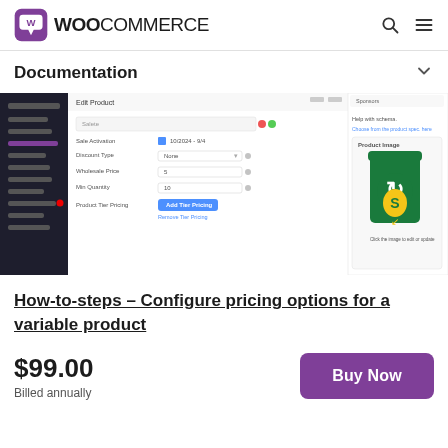[Figure (logo): WooCommerce logo with purple speech bubble icon and bold uppercase WOOCOMMERCE text]
Documentation
[Figure (screenshot): Screenshot of WooCommerce Edit Product admin panel showing fields: Sale Activation, Discount Type (None), Wholesale Price (5), Min Quantity (10), Product Tier Pricing (Add Tier Pricing button). Right panel shows product image of a Subway cup. Sidebar shows WordPress admin menu.]
How-to-steps – Configure pricing options for a variable product
$99.00
Billed annually